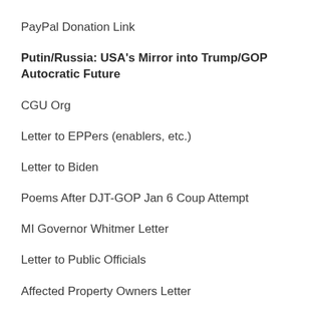PayPal Donation Link
Putin/Russia: USA's Mirror into Trump/GOP Autocratic Future
CGU Org
Letter to EPPers (enablers, etc.)
Letter to Biden
Poems After DJT-GOP Jan 6 Coup Attempt
MI Governor Whitmer Letter
Letter to Public Officials
Affected Property Owners Letter
Leaky CRIMe Plants
Contact